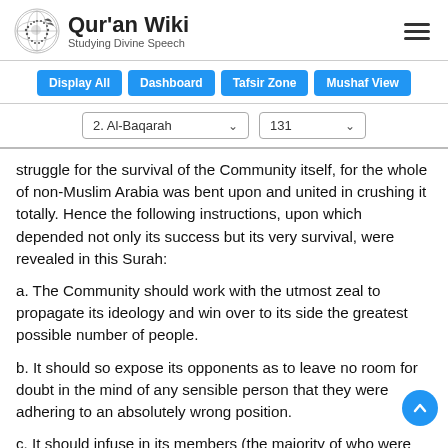Qur'an Wiki — Studying Divine Speech
Display All | Dashboard | Tafsir Zone | Mushaf View
2. Al-Baqarah  131
struggle for the survival of the Community itself, for the whole of non-Muslim Arabia was bent upon and united in crushing it totally. Hence the following instructions, upon which depended not only its success but its very survival, were revealed in this Surah:
a. The Community should work with the utmost zeal to propagate its ideology and win over to its side the greatest possible number of people.
b. It should so expose its opponents as to leave no room for doubt in the mind of any sensible person that they were adhering to an absolutely wrong position.
c. It should infuse in its members (the majority of whom were homeless and indigent and surrounded on all sides